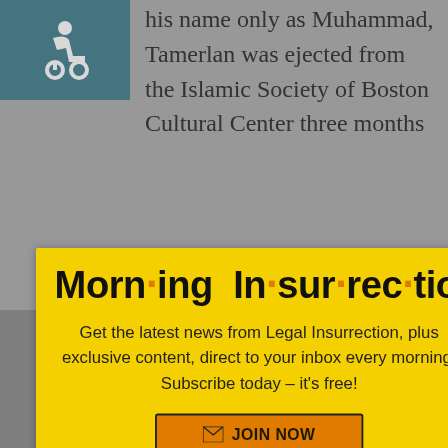[Figure (screenshot): Wheelchair accessibility icon in teal square, top left corner of background page]
his name only as Muhammad, Tamerlan was ejected from the Islamic Society of Boston Cultural Center three months
[Figure (infographic): Morning Insurrection email signup modal popup with yellow background. Title: 'Morn·ing In·sur·rec·tion'. Body text: 'Get the latest news from Legal Insurrection, plus exclusive content, direct to your inbox every morning. Subscribe today – it's free!' Button: 'JOIN NOW'. Close X in top right corner.]
Martin-Luth...King.html
back to top
[Figure (screenshot): Fiverr advertisement bar with white logo text and green Start Now button on dark background]
over by Dzhokhar, who obviously